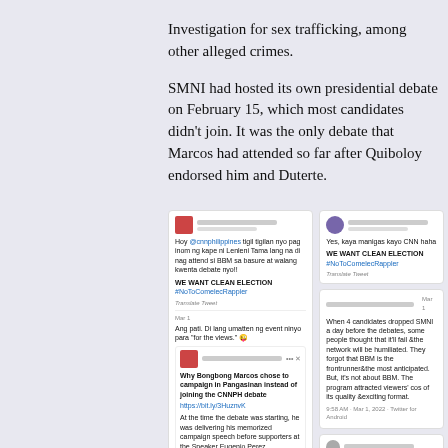Investigation for sex trafficking, among other alleged crimes.
SMNI had hosted its own presidential debate on February 15, which most candidates didn't join. It was the only debate that Marcos had attended so far after Quiboloy endorsed him and Duterte.
[Figure (screenshot): Screenshots of social media tweets about the CNN Philippines debate and BBM/Marcos campaign. Left column shows tweets with hashtag #NoToComelecRappler including one about Why Bongbong Marcos chose to campaign in Pangasinan, and a crowd photo. Right column shows tweets about CNN debate quality and a tweet about QUIZ BEE questions, plus a TV screen screenshot.]